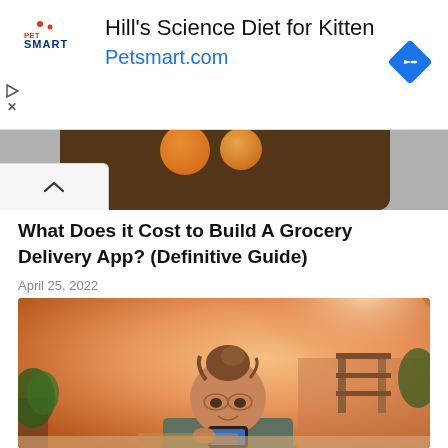[Figure (screenshot): PetSmart advertisement banner for Hill's Science Diet for Kitten with Petsmart.com URL and blue diamond arrow icon]
[Figure (photo): Partial cropped image showing a smartphone screen with food items visible, likely a grocery delivery app screenshot]
What Does it Cost to Build A Grocery Delivery App? (Definitive Guide)
April 25, 2022
[Figure (photo): Photo of a young woman with hair up in a bun, lying down and looking at her smartphone, warm orange-tinted room background with furniture and plants]